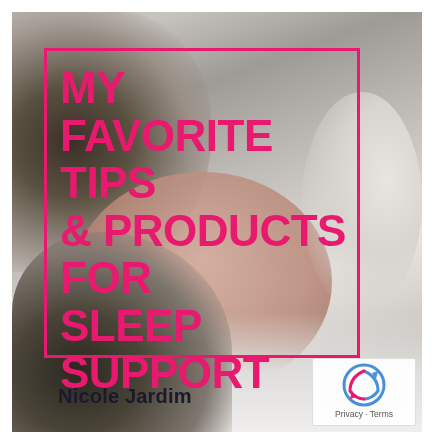[Figure (illustration): Grayscale photo of a woman with curly dark hair sleeping on a white pillow, with a headphone or round object visible at the top right. The image has a soft, muted tone.]
MY FAVORITE TIPS & PRODUCTS FOR SLEEP SUPPORT
Nicole Jardim